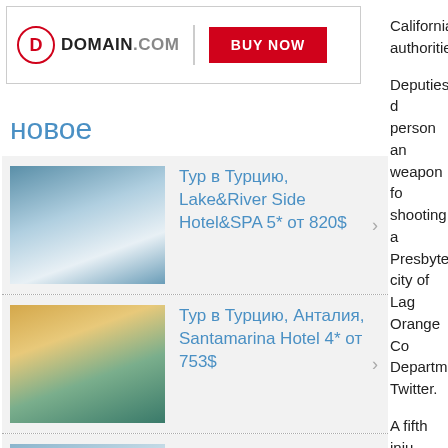[Figure (other): Domain.com advertisement banner with logo and BUY NOW button]
новое
[Figure (photo): Hotel with blue sky - Тур в Турцию, Lake&River Side Hotel&SPA 5* от 820$]
Тур в Турцию, Lake&River Side Hotel&SPA 5* от 820$
[Figure (photo): Hotel exterior - Тур в Турцию, Анталия, Santamarina Hotel 4* от 753$]
Тур в Турцию, Анталия, Santamarina Hotel 4* от 753$
[Figure (photo): Hotel - Тур в Турцию, Кемер, Ares]
Тур в Турцию, Кемер, Ares
California authorities
Deputies d person an weapon fo shooting a Presbyteri city of Lag Orange Co Departme Twitter.
A fifth inju suffered m officials sa were adul